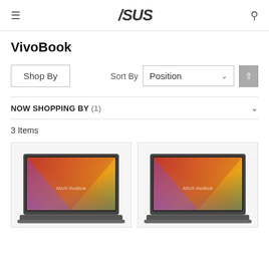ASUS - VivoBook
VivoBook
Shop By | Sort By Position
NOW SHOPPING BY (1)
3 Items
[Figure (photo): ASUS VivoBook laptop with colorful gradient wallpaper (red, orange, yellow, green, purple) on screen - left product card]
[Figure (photo): ASUS VivoBook laptop with colorful gradient wallpaper (red, orange, yellow, green, purple) on screen - right product card]